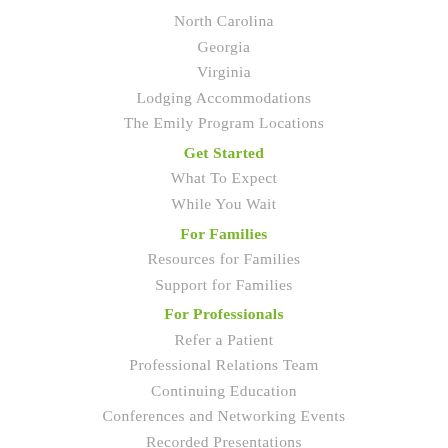North Carolina
Georgia
Virginia
Lodging Accommodations
The Emily Program Locations
Get Started
What To Expect
While You Wait
For Families
Resources for Families
Support for Families
For Professionals
Refer a Patient
Professional Relations Team
Continuing Education
Conferences and Networking Events
Recorded Presentations
Informational Materials
About Veritas
Our Approach